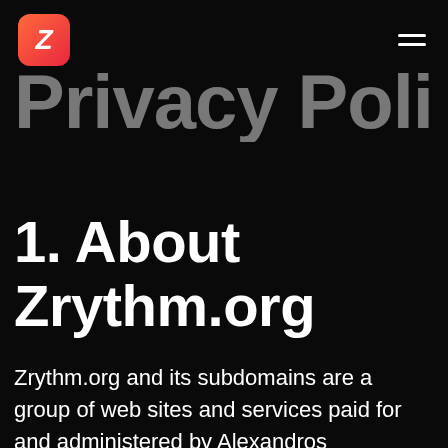Zrythm logo and navigation menu
Privacy Policy
1. About Zrythm.org
Zrythm.org and its subdomains are a group of web sites and services paid for and administered by Alexandros Theodotou, doing business as Alexandros Theodotou in the UK. The website exists